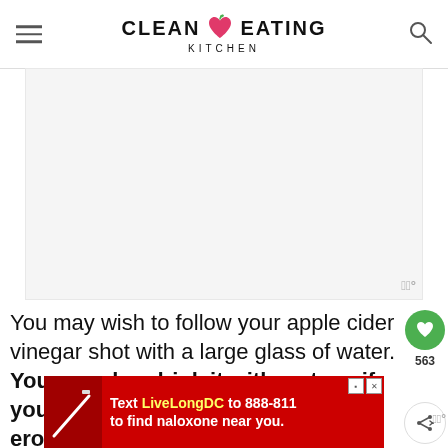CLEAN EATING KITCHEN
[Figure (other): Large gray placeholder image area with watermark badge in bottom right]
You may wish to follow your apple cider vinegar shot with a large glass of water. You can also drink it with a straw if you are concerned ab the acidity eroding your tooth enamel.
[Figure (other): Red advertisement banner: Text LiveLongDC to 888-811 to find naloxone near you.]